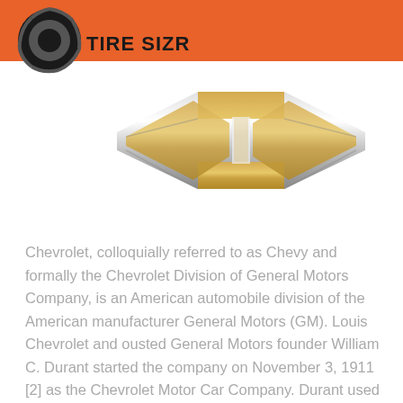[Figure (logo): Tire Sizr logo with black tire icon and bold text on orange header bar]
[Figure (logo): Chevrolet gold and chrome bowtie logo on white background]
Chevrolet, colloquially referred to as Chevy and formally the Chevrolet Division of General Motors Company, is an American automobile division of the American manufacturer General Motors (GM). Louis Chevrolet and ousted General Motors founder William C. Durant started the company on November 3, 1911 [2] as the Chevrolet Motor Car Company. Durant used the Chevrolet Motor Car Company to acquire a controlling stake in General Motors with a reverse merger occurring on May 2, 1918 and consolidating the company as General Motors and...